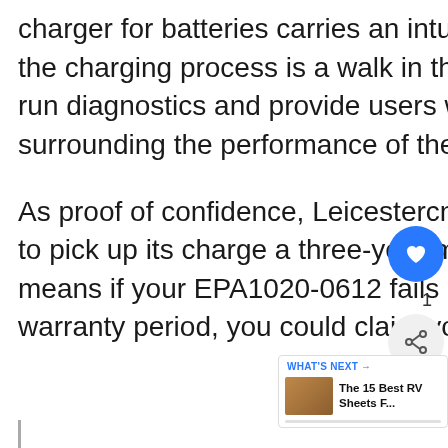charger for batteries carries an intuitive LED indicator, monitoring the charging process is a walk in the park. Interestingly, it's able to run diagnostics and provide users with plenty of information surrounding the performance of the batteries.
As proof of confidence, Leicestercn willingly offers people that opt to pick up its charge a three-year manufacturer warranty. That means if your EPA1020-0612 fails due to effects within the warranty period, you could claim yourself a free replacement.